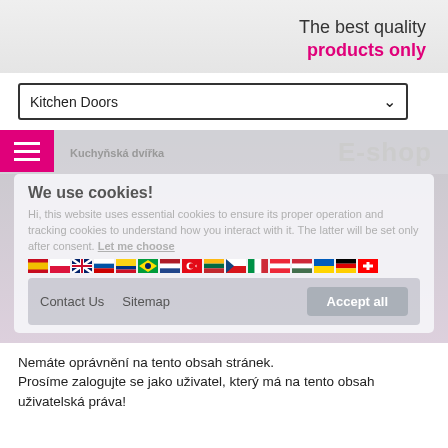The best quality products only
[Figure (screenshot): Dropdown selector showing 'Kitchen Doors' with a down arrow]
Kuchyňská dvířka
E-shop
We use cookies!
Hi, this website uses essential cookies to ensure its proper operation and tracking cookies to understand how you interact with it. The latter will be set only after consent. Let me choose
[Figure (illustration): Row of country flag icons]
Contact Us   Sitemap   Accept all
Nemáte oprávnění na tento obsah stránek. Prosíme zalogujte se jako uživatel, který má na tento obsah uživatelská práva!